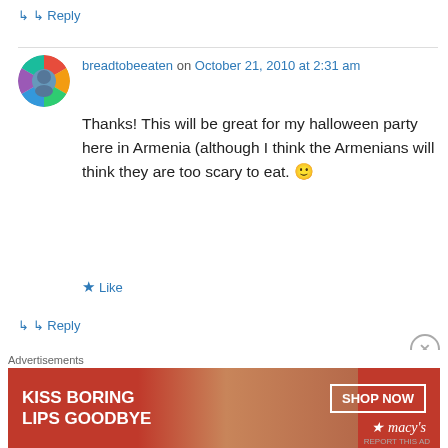↳ Reply
breadtobeeaten on October 21, 2010 at 2:31 am
Thanks! This will be great for my halloween party here in Armenia (although I think the Armenians will think they are too scary to eat. 🙂
★ Like
↳ Reply
Laura on October 21, 2010 at 2:31 am
Those look yummy! If you like mint, you might
Advertisements
[Figure (infographic): Macy's advertisement banner: KISS BORING LIPS GOODBYE with SHOP NOW button and Macy's logo on red background]